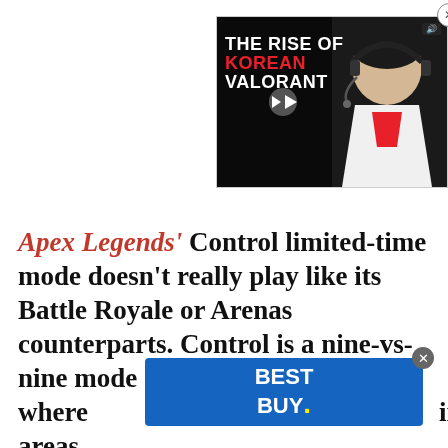[Figure (screenshot): Video thumbnail overlay showing 'THE RISE OF KOREAN VALORANT' with a person wearing gaming headset and team jersey, with a play button in the center and a close (X) button]
Apex Legends' Control limited-time mode doesn't really play like its Battle Royale or Arenas counterparts. Control is a nine-vs-nine mode where [partially obscured by ad] ...ing areas ...cks in
[Figure (screenshot): Best Buy advertisement banner in blue with yellow dot logo text reading 'BEST BUY.' with a close button]